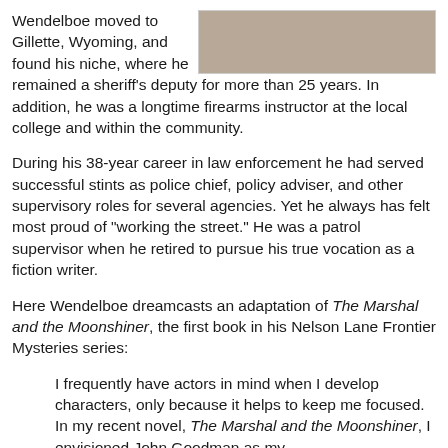[Figure (photo): Partial outdoor photo showing reddish-brown tones, appears to be a nature or landscape scene, cropped at top]
Wendelboe moved to Gillette, Wyoming, and found his niche, where he remained a sheriff's deputy for more than 25 years. In addition, he was a longtime firearms instructor at the local college and within the community.
During his 38-year career in law enforcement he had served successful stints as police chief, policy adviser, and other supervisory roles for several agencies. Yet he always has felt most proud of "working the street." He was a patrol supervisor when he retired to pursue his true vocation as a fiction writer.
Here Wendelboe dreamcasts an adaptation of The Marshal and the Moonshiner, the first book in his Nelson Lane Frontier Mysteries series:
I frequently have actors in mind when I develop characters, only because it helps to keep me focused. In my recent novel, The Marshal and the Moonshiner, I envisioned John Goodman as my